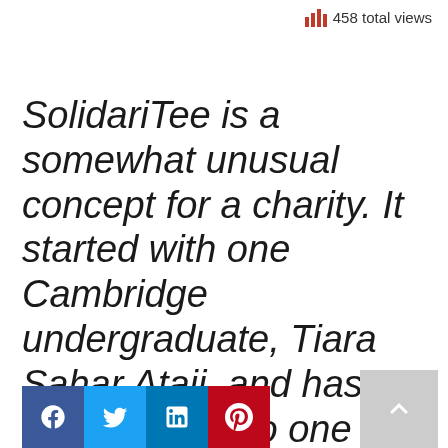458 total views
SolidariTee is a somewhat unusual concept for a charity. It started with one Cambridge undergraduate, Tiara Sahar Ataii, and has now grown into one of the largest student-led charities.